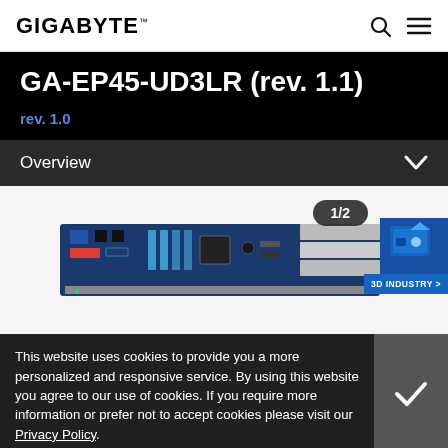GIGABYTE
GA-EP45-UD3LR (rev. 1.1)
rev. 1.0
Overview
[Figure (photo): Motherboard product photo of GA-EP45-UD3LR with badge showing 1/2 and a 3D INDUSTRY button in the corner]
This website uses cookies to provide you a more personalized and responsive service. By using this website you agree to our use of cookies. If you require more information or prefer not to accept cookies please visit our Privacy Policy.